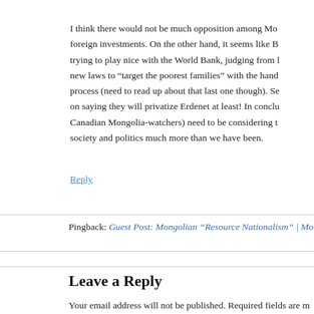I think there would not be much opposition among Mo... foreign investments. On the other hand, it seems like B... trying to play nice with the World Bank, judging from l... new laws to “target the poorest families” with the hand... process (need to read up about that last one though). Se... on saying they will privatize Erdenet at least! In conclu... Canadian Mongolia-watchers) need to be considering t... society and politics much more than we have been.
Reply
Pingback: Guest Post: Mongolian “Resource Nationalism” | Mongolia Today
Leave a Reply
Your email address will not be published. Required fields are m...